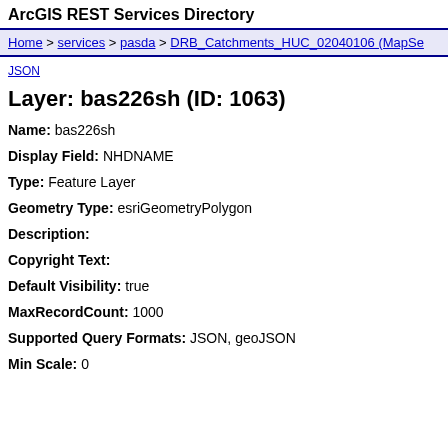ArcGIS REST Services Directory
Home > services > pasda > DRB_Catchments_HUC_02040106 (MapSe
JSON
Layer: bas226sh (ID: 1063)
Name: bas226sh
Display Field: NHDNAME
Type: Feature Layer
Geometry Type: esriGeometryPolygon
Description:
Copyright Text:
Default Visibility: true
MaxRecordCount: 1000
Supported Query Formats: JSON, geoJSON
Min Scale: 0